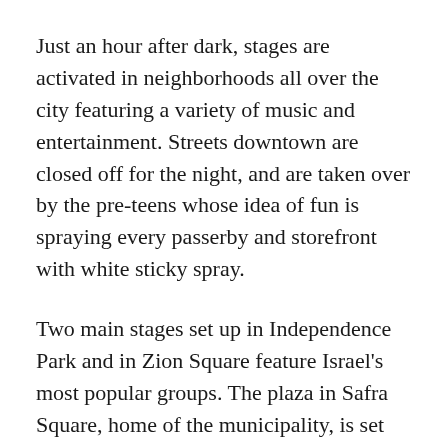Just an hour after dark, stages are activated in neighborhoods all over the city featuring a variety of music and entertainment. Streets downtown are closed off for the night, and are taken over by the pre-teens whose idea of fun is spraying every passerby and storefront with white sticky spray.
Two main stages set up in Independence Park and in Zion Square feature Israel's most popular groups. The plaza in Safra Square, home of the municipality, is set aside for traditional Israeli dancing.
In the meantime, the official Independence Day opening ceremonies are getting underway at Mount Herzl, adjacent to the military cemetery that was the scene of